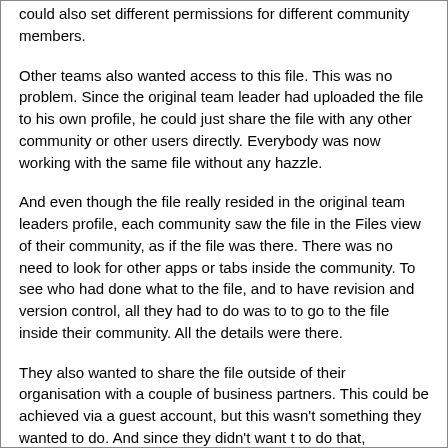could also set different permissions for different community members.
Other teams also wanted access to this file. This was no problem. Since the original team leader had uploaded the file to his own profile, he could just share the file with any other community or other users directly. Everybody was now working with the same file without any hazzle.
And even though the file really resided in the original team leaders profile, each community saw the file in the Files view of their community, as if the file was there. There was no need to look for other apps or tabs inside the community. To see who had done what to the file, and to have revision and version control, all they had to do was to to go to the file inside their community. All the details were there.
They also wanted to share the file outside of their organisation with a couple of business partners. This could be achieved via a guest account, but this wasn't something they wanted to do. And since they didn't want t to do that,